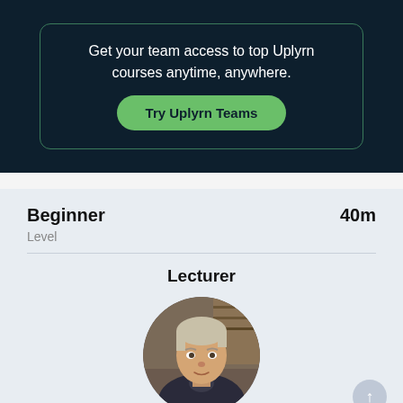Get your team access to top Uplyrn courses anytime, anywhere.
Try Uplyrn Teams
Beginner	40m
Level
Lecturer
[Figure (photo): Circular portrait photo of a middle-aged man with light gray/blonde hair, wearing a dark jacket, visible from chest up against a blurred indoor background.]